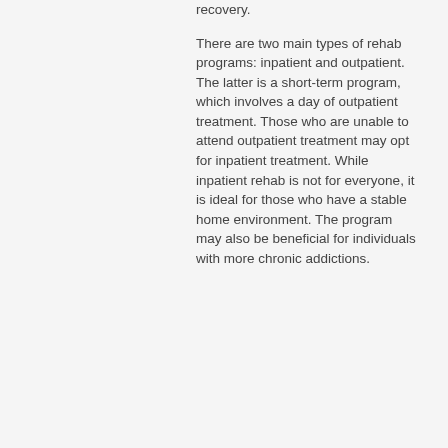recovery. There are two main types of rehab programs: inpatient and outpatient. The latter is a short-term program, which involves a day of outpatient treatment. Those who are unable to attend outpatient treatment may opt for inpatient treatment. While inpatient rehab is not for everyone, it is ideal for those who have a stable home environment. The program may also be beneficial for individuals with more chronic addictions.